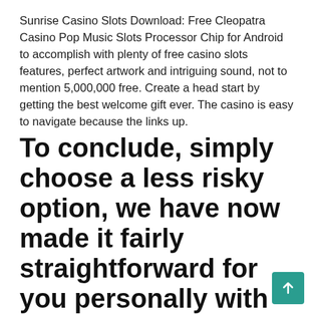Sunrise Casino Slots Download: Free Cleopatra Casino Pop Music Slots Processor Chip for Android to accomplish with plenty of free casino slots features, perfect artwork and intriguing sound, not to mention 5,000,000 free. Create a head start by getting the best welcome gift ever. The casino is easy to navigate because the links up.
To conclude, simply choose a less risky option, we have now made it fairly straightforward for you personally with these respected gambling casino positions. I am not a casino employee so I may not have